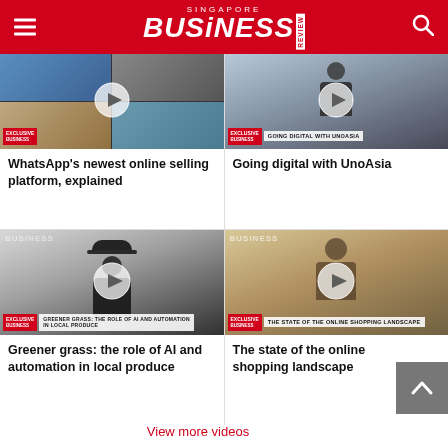Singapore Business Review
[Figure (screenshot): Video thumbnail for WhatsApp's newest online selling platform, explained — shows video call with multiple participants]
WhatsApp's newest online selling platform, explained
[Figure (screenshot): Video thumbnail for Going digital with UnoAsia — shows man in dark shirt with Exclusive Business banner]
Going digital with UnoAsia
[Figure (screenshot): Video thumbnail for Greener grass: the role of AI and automation in local produce — shows person in hat with Exclusive Business banner]
Greener grass: the role of AI and automation in local produce
[Figure (screenshot): Video thumbnail for The state of the online shopping landscape — shows man at desk with Exclusive Business banner]
The state of the online shopping landscape
View more videos